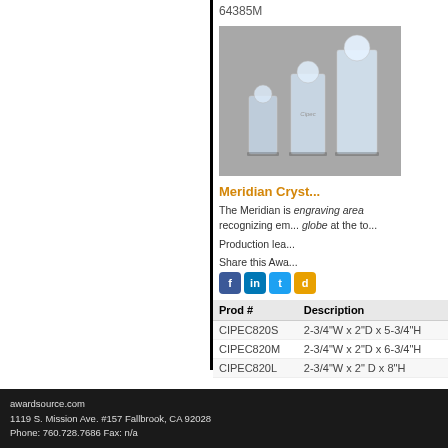64385M
[Figure (photo): Three crystal awards with globe tops, varying heights, translucent glass with engraved design]
Meridian Cryst...
The Meridian is... engraving area... recognizing em... globe at the to...
Production lea...
Share this Awa...
| Prod # | Description |
| --- | --- |
| CIPEC820S | 2-3/4"W x 2"D x 5-3/4"H |
| CIPEC820M | 2-3/4"W x 2"D x 6-3/4"H |
| CIPEC820L | 2-3/4"W x 2" D x 8"H |
Go to Page: [Prev] [282] [283...
awardsource.com
1119 S. Mission Ave. #157 Fallbrook, CA 92028
Phone: 760.728.7686 Fax: n/a